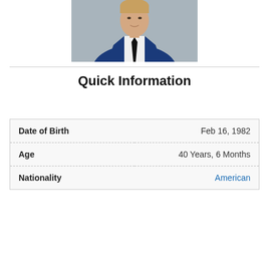[Figure (photo): Portrait photo of a man in a navy blue suit with a black tie and white dress shirt, photographed from roughly chest up against a grey background.]
Quick Information
| Field | Value |
| --- | --- |
| Date of Birth | Feb 16, 1982 |
| Age | 40 Years, 6 Months |
| Nationality | American |